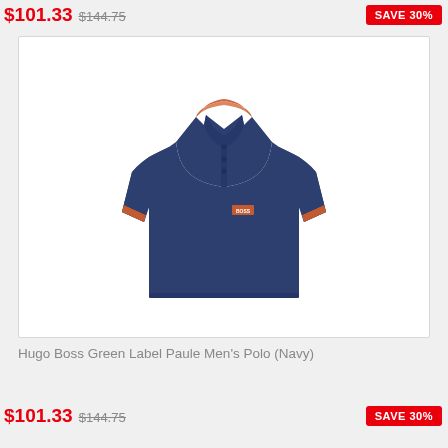$101.33 $144.75 SAVE 30%
[Figure (photo): Navy blue Hugo Boss Green Label Paule Men's Polo shirt with orange/red tipping on collar and sleeve cuffs, displayed on a white background]
Hugo Boss Green Label Paule Men's Polo (Navy)
$101.33 $144.75 SAVE 30%